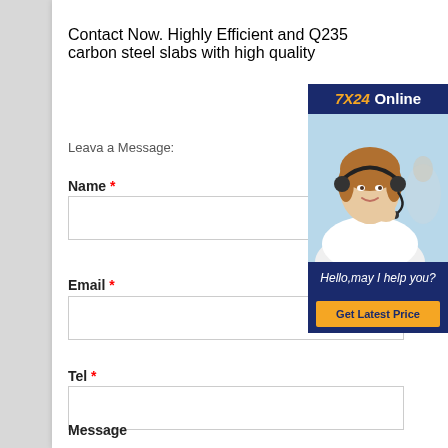Contact Now. Highly Efficient and Q235 carbon steel slabs with high quality
Leava a Message:
Name *
Email *
Tel *
Message
[Figure (photo): Customer service representative with headset, 7X24 Online widget with 'Hello, may I help you?' text and 'Get Latest Price' button]